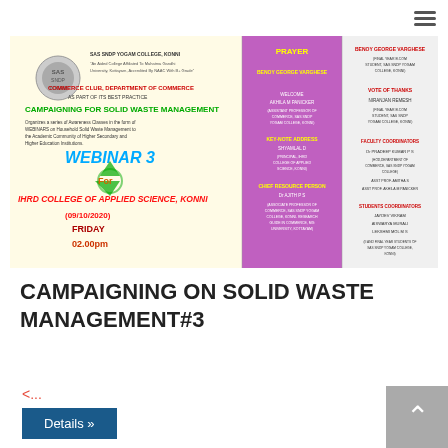[Figure (photo): Webinar flyer for Campaigning for Solid Waste Management - Webinar 3 for IHRD College of Applied Science, Konni on 09/10/2020, Friday 02.00pm, organized by Commerce Club, Department of Commerce, SAS SNDP Yogam College, Konni. Shows programme schedule with Prayer by Benoy George Varghese, Welcome by Akhila M Panicker, Key-Note Address by Shyamlal D, Chief Resource Person Dr. Ajith P S, Vote of Thanks by Niranjan Remesh. Faculty Coordinators: Dr Pradeep Kumar P S and Asst Prof Amitha S, Asst Prof Akhila M Panicker. Students Coordinators: Jaydev Vikram, Aiswarya Murali, Lekshmi Mol M S (II and Final Year Students of SAS SNDP Yogam College, Konni).]
CAMPAIGNING ON SOLID WASTE MANAGEMENT#3
<...
Details »